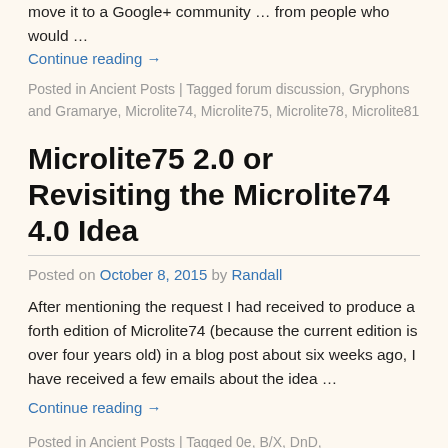move it to a Google+ community … from people who would …
Continue reading →
Posted in Ancient Posts | Tagged forum discussion, Gryphons and Gramarye, Microlite74, Microlite75, Microlite78, Microlite81
Microlite75 2.0 or Revisiting the Microlite74 4.0 Idea
Posted on October 8, 2015 by Randall
After mentioning the request I had received to produce a forth edition of Microlite74 (because the current edition is over four years old) in a blog post about six weeks ago, I have received a few emails about the idea …
Continue reading →
Posted in Ancient Posts | Tagged 0e, B/X, DnD,